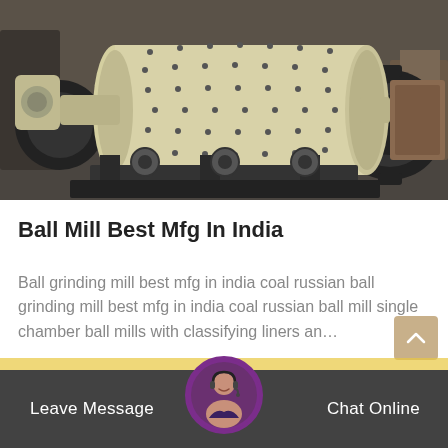[Figure (photo): Industrial ball mill machine with cream/beige colored cylindrical drum with bolt pattern, mounted on black metal frame, photographed in a warehouse or factory setting.]
Ball Mill Best Mfg In India
Ball grinding mill best mfg in india coal russian ball grinding mill best mfg in india coal russian ball mill single chamber ball mills with classifying liners an…
Leave Message
Chat Online